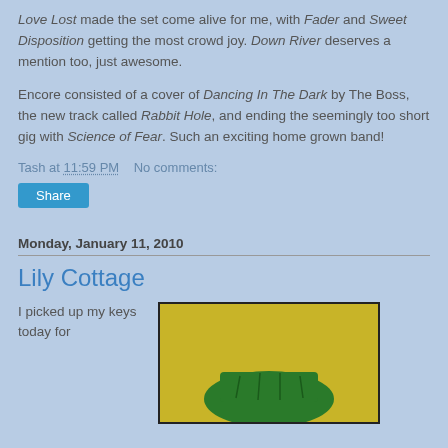Love Lost made the set come alive for me, with Fader and Sweet Disposition getting the most crowd joy. Down River deserves a mention too, just awesome.
Encore consisted of a cover of Dancing In The Dark by The Boss, the new track called Rabbit Hole, and ending the seemingly too short gig with Science of Fear. Such an exciting home grown band!
Tash at 11:59 PM    No comments:
Share
Monday, January 11, 2010
Lily Cottage
I picked up my keys today for
[Figure (photo): Photo showing a green object on a yellow/golden background, partially visible]